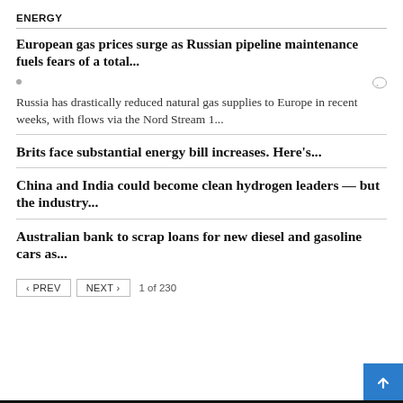ENERGY
European gas prices surge as Russian pipeline maintenance fuels fears of a total...
Russia has drastically reduced natural gas supplies to Europe in recent weeks, with flows via the Nord Stream 1...
Brits face substantial energy bill increases. Here's...
China and India could become clean hydrogen leaders — but the industry...
Australian bank to scrap loans for new diesel and gasoline cars as...
< PREV   NEXT >   1 of 230